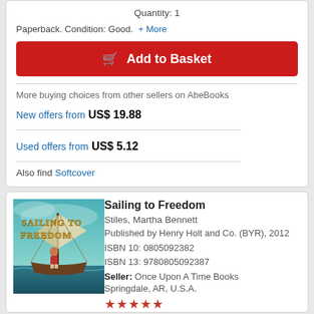Quantity: 1
Paperback. Condition: Good. ... + More
🛒 Add to Basket
More buying choices from other sellers on AbeBooks
New offers from US$ 19.88
Used offers from US$ 5.12
Also find Softcover
[Figure (illustration): Book cover of 'Sailing to Freedom' showing a young boy on a sailing ship with ropes and sails, teal/green watercolor style with golden title text]
Sailing to Freedom
Stiles, Martha Bennett
Published by Henry Holt and Co. (BYR), 2012
ISBN 10: 0805092382
ISBN 13: 9780805092387
Seller: Once Upon A Time Books
Springdale, AR, U.S.A.
★★★★★